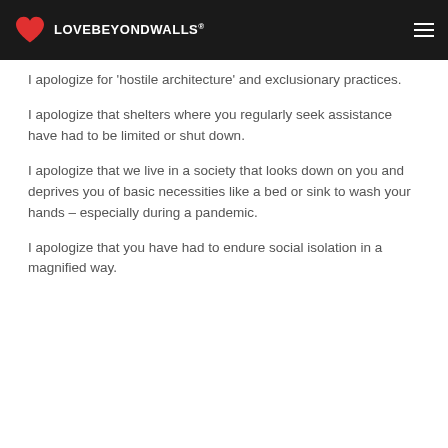LOVEBEYONDWALLS®
I apologize for 'hostile architecture' and exclusionary practices.
I apologize that shelters where you regularly seek assistance have had to be limited or shut down.
I apologize that we live in a society that looks down on you and deprives you of basic necessities like a bed or sink to wash your hands – especially during a pandemic.
I apologize that you have had to endure social isolation in a magnified way.